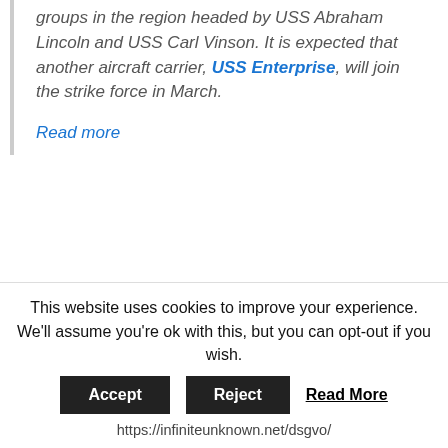groups in the region headed by USS Abraham Lincoln and USS Carl Vinson. It is expected that another aircraft carrier, USS Enterprise, will join the strike force in March.
Read more
Global News, Politics
Barack Obama, Global News, Government, Iran, Military, Obama administration, Politics, U.S.
Leave a comment
This website uses cookies to improve your experience. We'll assume you're ok with this, but you can opt-out if you wish.
https://infiniteunknown.net/dsgvo/